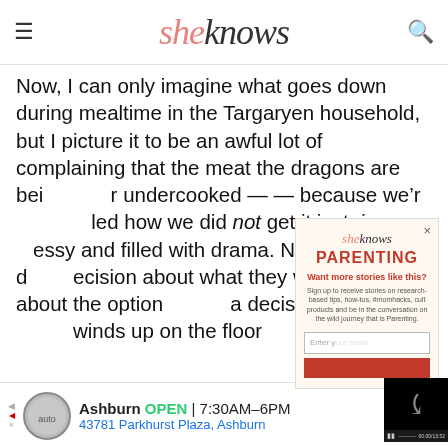sheknows
Now, I can only imagine what goes down during mealtime in the Targaryen household, but I picture it to be an awful lot of complaining that the meat the dragons are bei[ ]r undercooked — — because we'r[ ]led how we did not get it just rig[ ]essy and filled with drama. No d[ ]decision about what they want t[ ] about the option[ ] a decision finally[ ] winds up on the floor[ ]
[Figure (screenshot): SheKnows Parenting newsletter signup popup modal with logo, PARENTING category header, 'Want more stories like this?' headline, description text, email input field, and signup button]
[Figure (screenshot): Video player with black screen showing loading spinner, video controls bar with pause, rewind, skip, mute icons, and time display 00:00 / 13:52]
[Figure (infographic): Advertisement banner for auto business in Ashburn showing logo circle, business name 'Ashburn', OPEN 7:30AM-6PM, address 43781 Parkhurst Plaza Ashburn, navigation arrow icon]